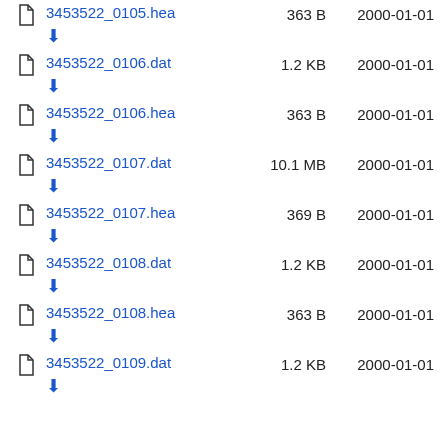3453522_0105.hea  363 B  2000-01-01
3453522_0106.dat  1.2 KB  2000-01-01
3453522_0106.hea  363 B  2000-01-01
3453522_0107.dat  10.1 MB  2000-01-01
3453522_0107.hea  369 B  2000-01-01
3453522_0108.dat  1.2 KB  2000-01-01
3453522_0108.hea  363 B  2000-01-01
3453522_0109.dat  1.2 KB  2000-01-01